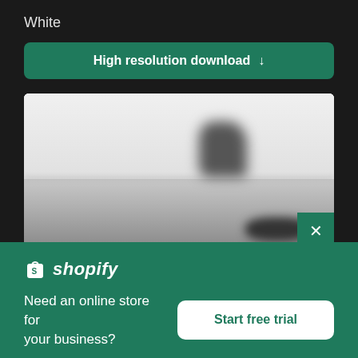White
High resolution download ↓
[Figure (photo): Blurry black and white seascape/waterscape image with a dark silhouetted shape (possibly a ship or structure) in the background and dark figures near the bottom right]
× (close button)
[Figure (logo): Shopify logo — shopping bag icon with 'shopify' italic text in white]
Need an online store for your business?
Start free trial